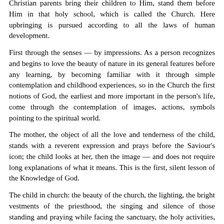Christian parents bring their children to Him, stand them before Him in that holy school, which is called the Church. Here upbringing is pursued according to all the laws of human development.
First through the senses — by impressions. As a person recognizes and begins to love the beauty of nature in its general features before any learning, by becoming familiar with it through simple contemplation and childhood experiences, so in the Church the first notions of God, the earliest and more important in the person's life, come through the contemplation of images, actions, symbols pointing to the spiritual world.
The mother, the object of all the love and tenderness of the child, stands with a reverent expression and prays before the Saviour's icon; the child looks at her, then the image — and does not require long explanations of what it means. This is the first, silent lesson of the Knowledge of God.
The child in church: the beauty of the church, the lighting, the bright vestments of the priesthood, the singing and silence of those standing and praying while facing the sanctuary, the holy activities, the lack of everyday objects, the forbidding of irreverent movements, the demand for attention to something higher, special — these are lessons of reverence before God, which cannot be replaced by any fancy speech of a religious teacher.